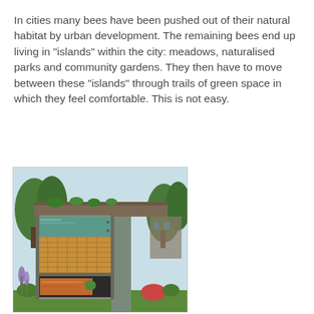In cities many bees have been pushed out of their natural habitat by urban development. The remaining bees end up living in "islands" within the city: meadows, naturalised parks and community gardens. They then have to move between these "islands" through trails of green space in which they feel comfortable. This is not easy.
[Figure (photo): A modern wooden insect/bee hotel structure with a flat overhanging roof with green plants growing on top, a teal/green glass panel section, a wooden lattice middle compartment, and a lower open section with orange material inside, set against a background of trees and garden plants.]